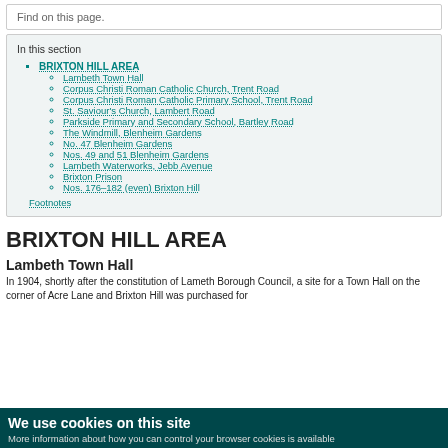Find on this page.
In this section
BRIXTON HILL AREA
Lambeth Town Hall
Corpus Christi Roman Catholic Church, Trent Road
Corpus Christi Roman Catholic Primary School, Trent Road
St. Saviour's Church, Lambert Road
Parkside Primary and Secondary School, Bartley Road
The Windmill, Blenheim Gardens
No. 47 Blenheim Gardens
Nos. 49 and 51 Blenheim Gardens
Lambeth Waterworks, Jebb Avenue
Brixton Prison
Nos. 176–182 (even) Brixton Hill
Footnotes
BRIXTON HILL AREA
Lambeth Town Hall
In 1904, shortly after the constitution of Lameth Borough Council, a site for a Town Hall on the corner of Acre Lane and Brixton Hill was purchased for
We use cookies on this site
More information about how you can control your browser cookies is available